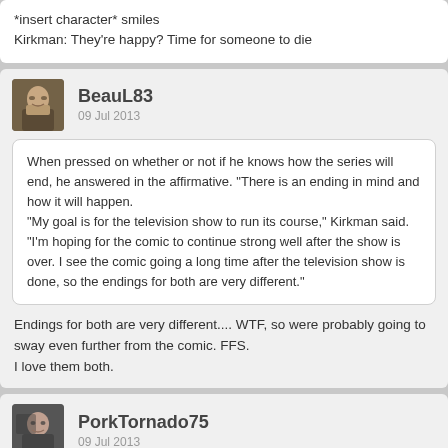*insert character* smiles
Kirkman: They're happy? Time for someone to die
BeauL83
09 Jul 2013
When pressed on whether or not if he knows how the series will end, he answered in the affirmative. "There is an ending in mind and how it will happen.
"My goal is for the television show to run its course," Kirkman said. "I'm hoping for the comic to continue strong well after the show is over. I see the comic going a long time after the television show is done, so the endings for both are very different."
Endings for both are very different.... WTF, so were probably going to sway even further from the comic. FFS.
I love them both.
PorkTornado75
09 Jul 2013
Endings for both are very different.... WTF, so were probably going to sway even further from the comic. FFS.